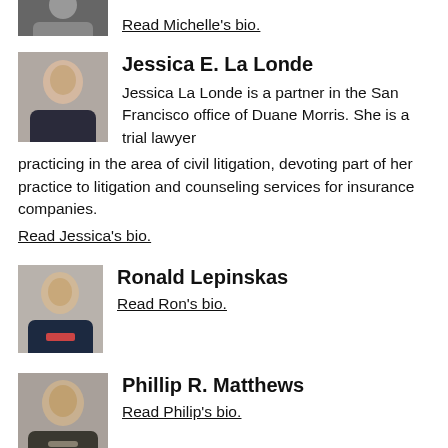[Figure (photo): Partial photo of a person at the top of the page (cropped)]
Read Michelle's bio.
[Figure (photo): Headshot photo of Jessica E. La Londe]
Jessica E. La Londe
Jessica La Londe is a partner in the San Francisco office of Duane Morris. She is a trial lawyer practicing in the area of civil litigation, devoting part of her practice to litigation and counseling services for insurance companies.
Read Jessica's bio.
[Figure (photo): Headshot photo of Ronald Lepinskas]
Ronald Lepinskas
Read Ron's bio.
[Figure (photo): Headshot photo of Phillip R. Matthews]
Phillip R. Matthews
Read Philip's bio.
[Figure (photo): Partial headshot photo of Amy E. McCracken (cropped at bottom)]
Amy E. McCracken